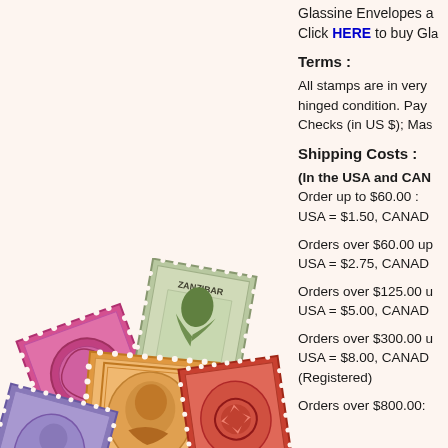Glassine Envelopes a… Click HERE to buy Gla…
Terms :
All stamps are in very… hinged condition. Pay… Checks (in US $); Ma…
Shipping Costs :
(In the USA and CAN… Order up to $60.00 : USA = $1.50, CANAD…
Orders over $60.00 up… USA = $2.75, CANAD…
Orders over $125.00 u… USA = $5.00, CANAD…
Orders over $300.00 u… USA = $8.00, CANAD… (Registered)
Orders over $800.00:…
[Figure (photo): Collection of colorful vintage postage stamps from various countries including Zanzibar, arranged in a scattered pile. Colors include pink/magenta, green, orange, red, and blue-purple.]